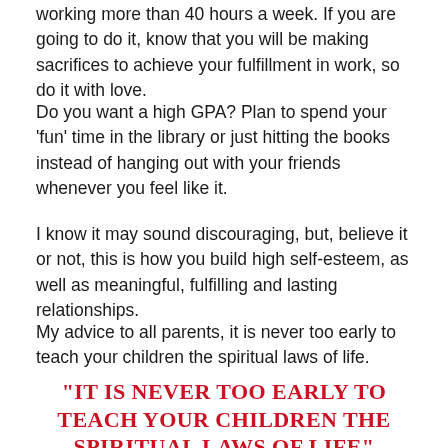working more than 40 hours a week. If you are going to do it, know that you will be making sacrifices to achieve your fulfillment in work, so do it with love.
Do you want a high GPA? Plan to spend your 'fun' time in the library or just hitting the books instead of hanging out with your friends whenever you feel like it.
I know it may sound discouraging, but, believe it or not, this is how you build high self-esteem, as well as meaningful, fulfilling and lasting relationships.
My advice to all parents, it is never too early to teach your children the spiritual laws of life.
"IT IS NEVER TOO EARLY TO TEACH YOUR CHILDREN THE SPIRITUAL LAWS OF LIFE"